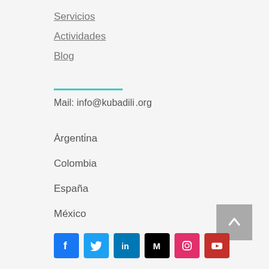Servicios
Actividades
Blog
Mail: info@kubadili.org
Argentina
Colombia
España
México
[Figure (infographic): Social media icons: Facebook, Twitter, LinkedIn, Medium, Instagram, YouTube]